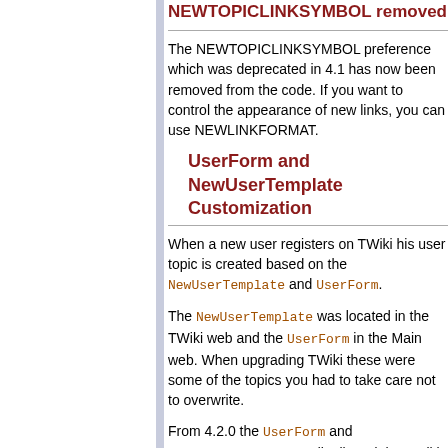NEWTOPICLINKSYMBOL removed
The NEWTOPICLINKSYMBOL preference which was deprecated in 4.1 has now been removed from the code. If you want to control the appearance of new links, you can use NEWLINKFORMAT.
UserForm and NewUserTemplate Customization
When a new user registers on TWiki his user topic is created based on the NewUserTemplate and UserForm.
The NewUserTemplate was located in the TWiki web and the UserForm in the Main web. When upgrading TWiki these were some of the topics you had to take care not to overwrite.
From 4.2.0 the UserForm and NewUserTemplate are distributed the TWiki web. If you create the two in the Main web the Main web version will be used instead. So if you tailor the user top format or the form then you should always copy the two files the Main web and modify the ones in the Main web. When yo later upgrade TWiki your tailored template and form will not b